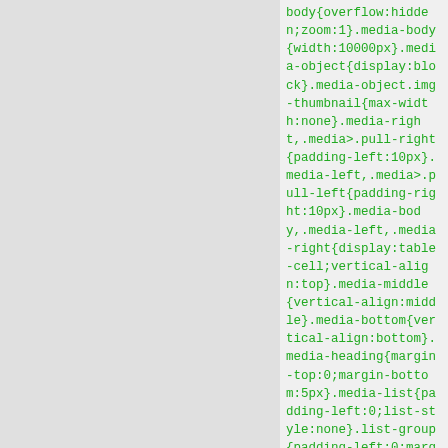body{overflow:hidden;zoom:1}.media-body{width:10000px}.media-object{display:block}.media-object.img-thumbnail{max-width:none}.media-right,.media>.pull-right{padding-left:10px}.media-left,.media>.pull-left{padding-right:10px}.media-body,.media-left,.media-right{display:table-cell;vertical-align:top}.media-middle{vertical-align:middle}.media-bottom{vertical-align:bottom}.media-heading{margin-top:0;margin-bottom:5px}.media-list{padding-left:0;list-style:none}.list-group{padding-left:0;margin-bottom:20px}.list-group-item{position:relative;display:bloc 15px;margin-bottom:-1px;background-color:#fff;border:1px solid #ddd}.list-group-item:first-child{border-top-left-radius:4px;border-top-right-radius:4px}.list-group-item:last-child{margin-bottom:0;border-bottom-right-radius:4px;border-bottom-left-radius:4px}a.list-group-item,button.list-group-